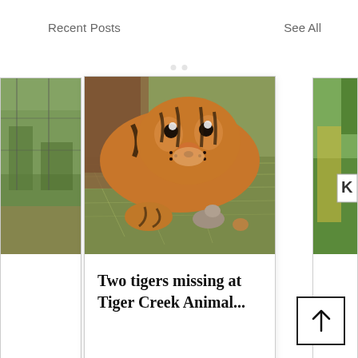Recent Posts
See All
[Figure (photo): Left partial card with partial photo of outdoor scene with green grass and fence]
[Figure (photo): Center card showing a tiger lying on hay/straw looking at the camera, with bold title text below]
Two tigers missing at Tiger Creek Animal...
[Figure (photo): Right partial card with partial photo of green lawn and a white sign]
[Figure (photo): Bottom partial image showing a sandy/golden textured surface with a small animal figure visible]